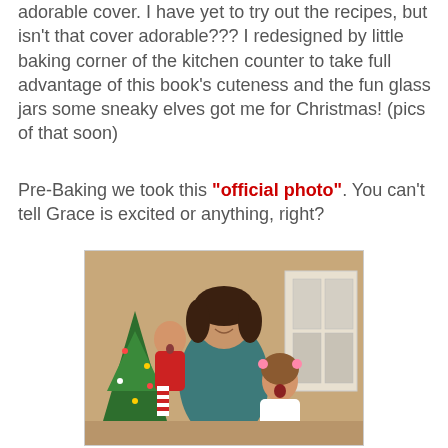adorable cover. I have yet to try out the recipes, but isn't that cover adorable??? I redesigned by little baking corner of the kitchen counter to take full advantage of this book's cuteness and the fun glass jars some sneaky elves got me for Christmas! (pics of that soon)
Pre-Baking we took this "official photo". You can't tell Grace is excited or anything, right?
[Figure (photo): A woman with dark hair wearing a teal top holds a baby in a red outfit. A young girl with pigtails and a white outfit stands beside them. A Christmas tree and white cabinet are visible in the background.]